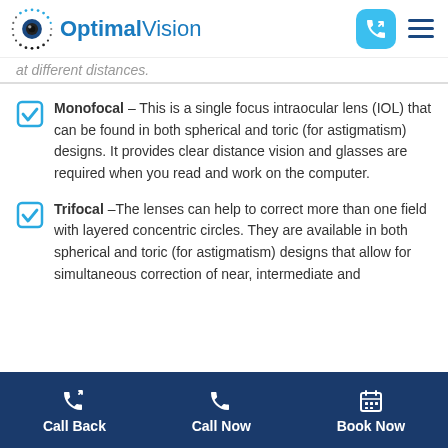Optimal Vision
at different distances.
Monofocal – This is a single focus intraocular lens (IOL) that can be found in both spherical and toric (for astigmatism) designs. It provides clear distance vision and glasses are required when you read and work on the computer.
Trifocal –The lenses can help to correct more than one field with layered concentric circles. They are available in both spherical and toric (for astigmatism) designs that allow for simultaneous correction of near, intermediate and
Call Back  Call Now  Book Now